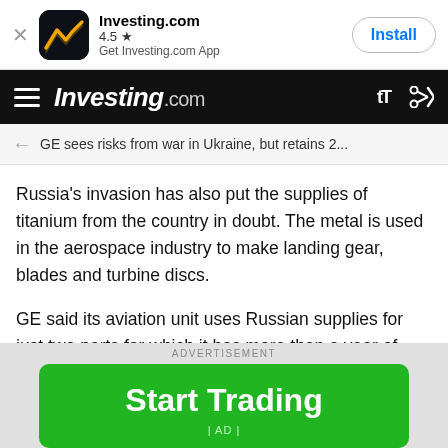[Figure (screenshot): Investing.com app install banner with app icon, name, rating 4.5 stars, description 'Get Investing.com App', and Install button]
Investing.com
GE sees risks from war in Ukraine, but retains 2...
Russia's invasion has also put the supplies of titanium from the country in doubt. The metal is used in the aerospace industry to make landing gear, blades and turbine discs.
GE said its aviation unit uses Russian supplies for just two parts for which it has more than a year of inventory on the shelf. Overall, it sources just 1% of its titanium supplies from Russia.
[Figure (other): Green advertisement button saying 'Start Trading' with '| AD |' label below, on a grey background with 'ADVERTISEMENT' label above]